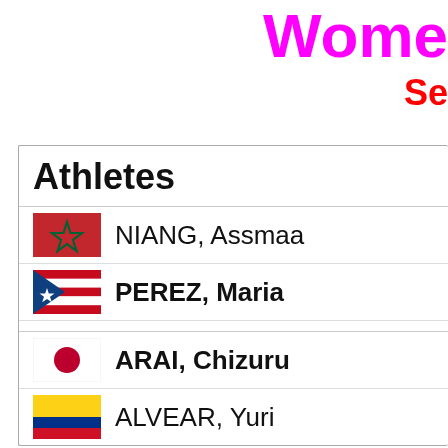Wome
Se
| Athletes |
| --- |
| NIANG, Assmaa |
| PEREZ, Maria |
Wom
Rep
| Athletes |
| --- |